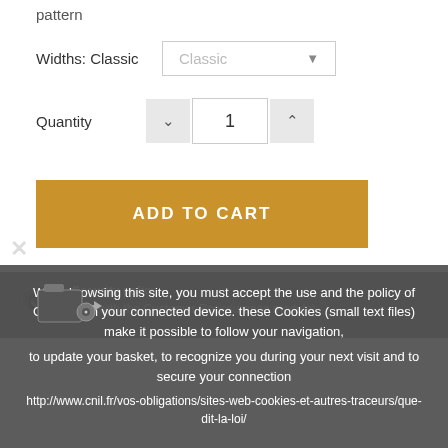pattern
Widths: Classic   Classic ▼
Quantity   ˅  1  ˄
ADD TO CART
♡ ADD TO WISHLIST
While browsing this site, you must accept the use and the policy of Cookies on your connected device. these Cookies (small text files) make it possible to follow your navigation, to update your basket, to recognize you during your next visit and to secure your connection http://www.cnil.fr/vos-obligations/sites-web-cookies-et-autres-traceurs/que-dit-la-loi/
Security policy (edit with the Customer Reassurance module)
Retargeting (edit with the Customer Reassurance module)